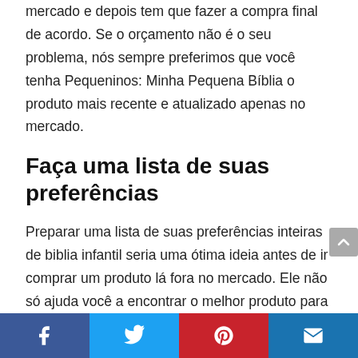mercado e depois tem que fazer a compra final de acordo. Se o orçamento não é o seu problema, nós sempre preferimos que você tenha Pequeninos: Minha Pequena Bíblia o produto mais recente e atualizado apenas no mercado.
Faça uma lista de suas preferências
Preparar uma lista de suas preferências inteiras de biblia infantil seria uma ótima ideia antes de ir comprar um produto lá fora no mercado. Ele não só ajuda você a encontrar o melhor produto para você, mas também economiza grande parte do seu tempo. Peque os melhores quatro ou cinco biblia